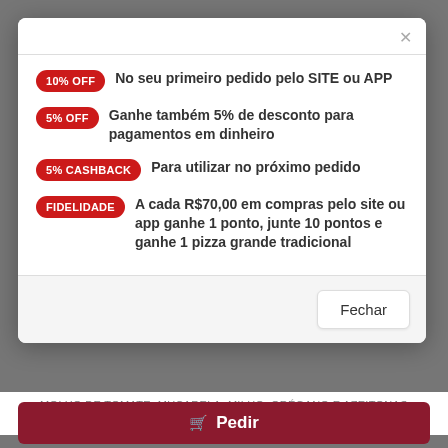10% OFF No seu primeiro pedido pelo SITE ou APP
5% OFF Ganhe também 5% de desconto para pagamentos em dinheiro
5% CASHBACK Para utilizar no próximo pedido
FIDELIDADE A cada R$70,00 em compras pelo site ou app ganhe 1 ponto, junte 10 pontos e ganhe 1 pizza grande tradicional
Fechar
MOLHO DE TOMATE, MUÇARELA, MILHO, ORÉGANO E AZEITONAS PRETAS.
Pedir